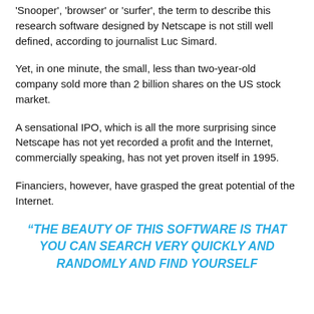'Snooper', 'browser' or 'surfer', the term to describe this research software designed by Netscape is not still well defined, according to journalist Luc Simard.
Yet, in one minute, the small, less than two-year-old company sold more than 2 billion shares on the US stock market.
A sensational IPO, which is all the more surprising since Netscape has not yet recorded a profit and the Internet, commercially speaking, has not yet proven itself in 1995.
Financiers, however, have grasped the great potential of the Internet.
“THE BEAUTY OF THIS SOFTWARE IS THAT YOU CAN SEARCH VERY QUICKLY AND RANDOMLY AND FIND YOURSELF